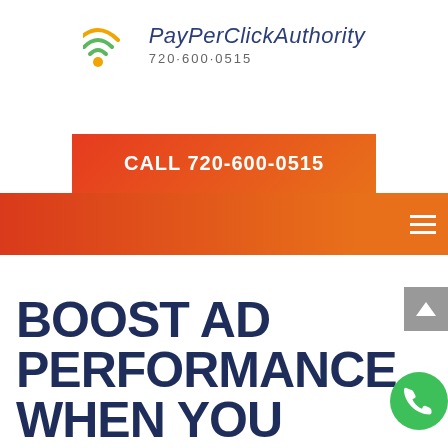[Figure (logo): PayPerClickAuthority logo with wifi/signal icon in green and orange, company name in italic dark blue, phone number 720·600·0515 below]
CALL 720-600-0515
[Figure (infographic): Orange-red gradient navigation bar with hamburger menu icon on the right]
[Figure (infographic): Gray scroll-to-top button with upward arrow]
BOOST AD PERFORMANCE WHEN YOU CORRECT THE